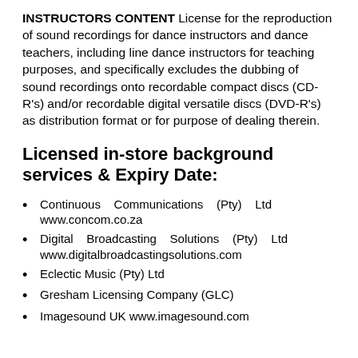INSTRUCTORS CONTENT License for the reproduction of sound recordings for dance instructors and dance teachers, including line dance instructors for teaching purposes, and specifically excludes the dubbing of sound recordings onto recordable compact discs (CD-R's) and/or recordable digital versatile discs (DVD-R's) as distribution format or for purpose of dealing therein.
Licensed in-store background services & Expiry Date:
Continuous Communications (Pty) Ltd www.concom.co.za
Digital Broadcasting Solutions (Pty) Ltd www.digitalbroadcastingsolutions.com
Eclectic Music (Pty) Ltd
Gresham Licensing Company (GLC)
Imagesound UK www.imagesound.com